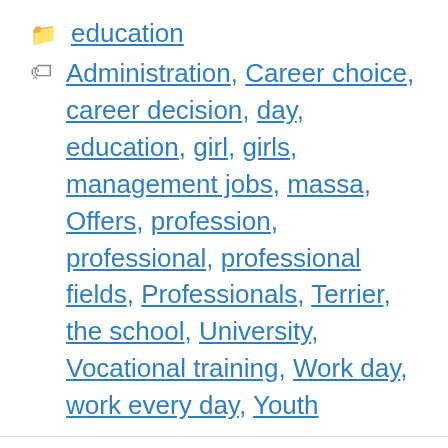education
Administration, Career choice, career decision, day, education, girl, girls, management jobs, massa, Offers, profession, professional, professional fields, Professionals, Terrier, the school, University, Vocational training, Work day, work every day, Youth
We use cookies on our website to give you the most relevant experience by remembering your preferences and repeat visits. By clicking “Accept All”, you consent to the use of ALL the cookies. However, you may visit "Cookie Settings" to provide a controlled consent.